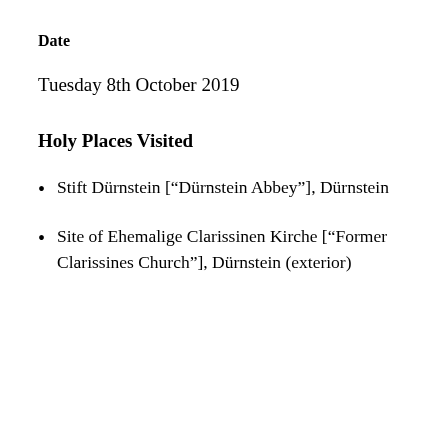Date
Tuesday 8th October 2019
Holy Places Visited
Stift Dürnstein [“Dürnstein Abbey”], Dürnstein
Site of Ehemalige Clarissinen Kirche [“Former Clarissines Church”], Dürnstein (exterior)